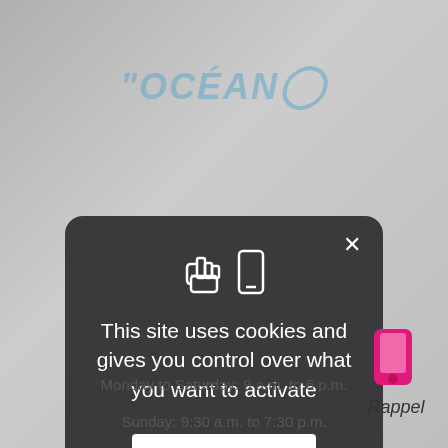[Figure (screenshot): Background website screenshot showing Océan logo and store hours text]
[Figure (screenshot): Dark modal dialog popup with cookie consent message, icons, X close button, and Personalize button]
This site uses cookies and gives you control over what you want to activate
Personalize
Monday to Saturday: 9 a.m. to 6 p.m.
Sunday: 9:30 a.m. to 7:30 p.m.
[Figure (illustration): Pink mobile phone icon with Rappel text label]